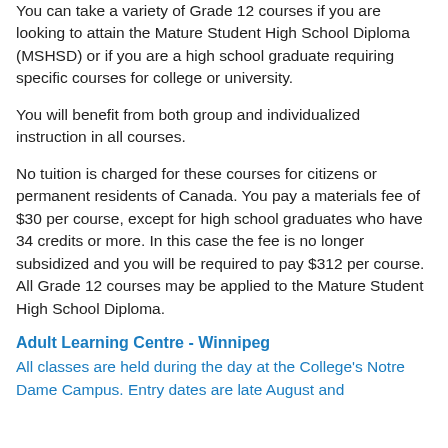You can take a variety of Grade 12 courses if you are looking to attain the Mature Student High School Diploma (MSHSD) or if you are a high school graduate requiring specific courses for college or university.
You will benefit from both group and individualized instruction in all courses.
No tuition is charged for these courses for citizens or permanent residents of Canada. You pay a materials fee of $30 per course, except for high school graduates who have 34 credits or more. In this case the fee is no longer subsidized and you will be required to pay $312 per course. All Grade 12 courses may be applied to the Mature Student High School Diploma.
Adult Learning Centre - Winnipeg
All classes are held during the day at the College's Notre Dame Campus. Entry dates are late August and